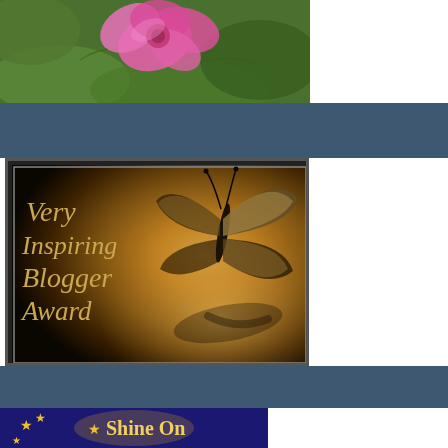[Figure (photo): Pink flower with green leaves background, close-up photo]
[Figure (illustration): Very Inspiring Blogger Award badge with golden cursive text and backlit butterfly silhouette on warm brown background]
[Figure (illustration): Shine On award badge with dark blue night sky background, gold stars, and glowing text 'Shine On']